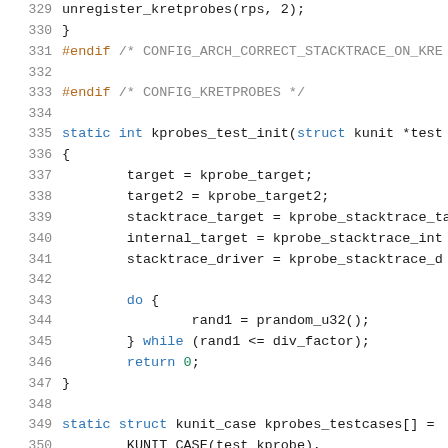[Figure (screenshot): Source code listing showing C kernel code lines 329-350, with line numbers on left and syntax-highlighted code on right. Lines include preprocessor directives (#endif), function definitions (kprobes_test_init, kunit_case), variable assignments, and a do-while loop.]